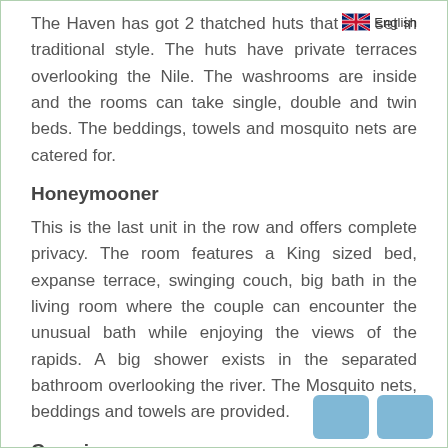The Haven has got 2 thatched huts that are set in traditional style. The huts have private terraces overlooking the Nile. The washrooms are inside and the rooms can take single, double and twin beds. The beddings, towels and mosquito nets are catered for.
Honeymooner
This is the last unit in the row and offers complete privacy. The room features a King sized bed, expanse terrace, swinging couch, big bath in the living room where the couple can encounter the unusual bath while enjoying the views of the rapids. A big shower exists in the separated bathroom overlooking the river. The Mosquito nets, beddings and towels are provided.
Camping